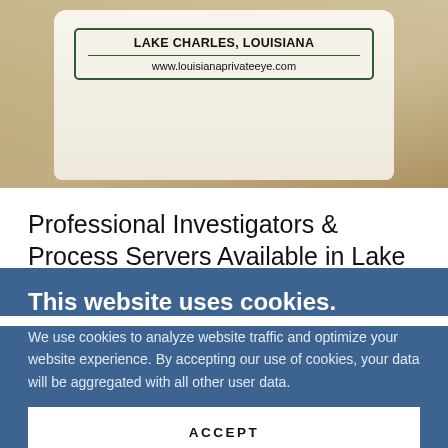[Figure (photo): Photo of a white mug/jar with a label reading 'LAKE CHARLES, LOUISIANA' and 'www.louisianaprivateeye.com', with a green border on the label, set against a warm tan background.]
Professional Investigators & Process Servers Available in Lake Charles,
This website uses cookies.
We use cookies to analyze website traffic and optimize your website experience. By accepting our use of cookies, your data will be aggregated with all other user data.
ACCEPT